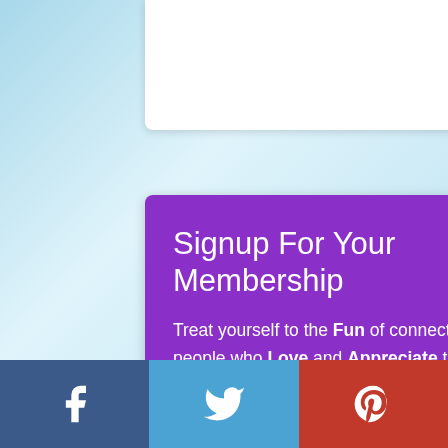[Figure (screenshot): Social share buttons: Twitter (blue), Facebook (dark blue), Google+ (red) icon buttons in white card area]
Signup For Your Membership
Treat yourself to the Fun of connecting with people who Love and Appreciate the same creative things you do.    Click the "Signup Now" button!
[Figure (other): Orange rounded button with chevron circle on left and 'Become a Member!' text]
[Figure (other): Footer social bar with Facebook (blue-grey), Twitter (blue), Pinterest (red) icons]